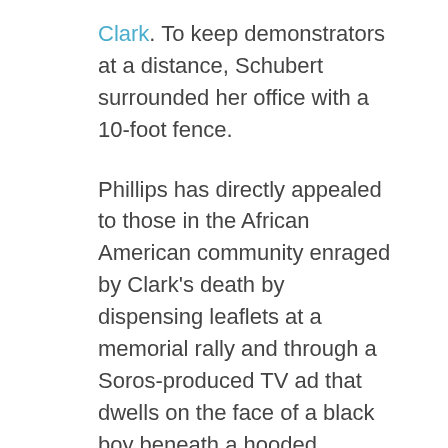Clark. To keep demonstrators at a distance, Schubert surrounded her office with a 10-foot fence.
Phillips has directly appealed to those in the African American community enraged by Clark's death by dispensing leaflets at a memorial rally and through a Soros-produced TV ad that dwells on the face of a black boy beneath a hooded sweatshirt.
Schubert's ads tout her role in the recent arrest of a man suspected of being the Golden State Killer, who